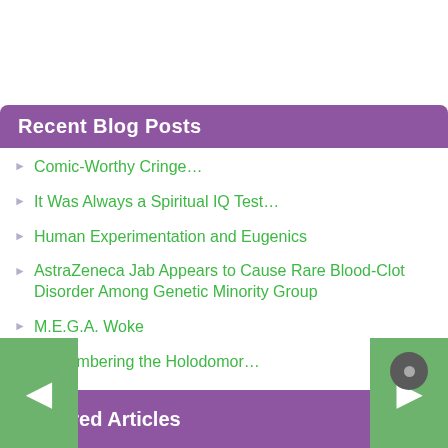Recent Blog Posts
Comic-Worthy Cringe…
It Was Always a Spiritual IQ Test…
Human Experimentation and Eugenics
AstraZeneca Jab Appears to Cause Rare Blood-Clot Disorder Among Genetic Minority Group
M.E.G.A. Woke
Remembering the Holodomor…
Transgenderism: Newspeak for Eugenics
Featured Articles